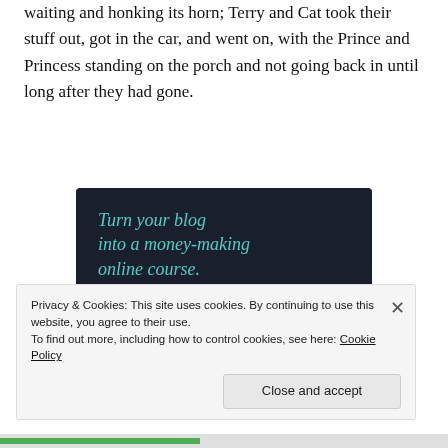waiting and honking its horn; Terry and Cat took their stuff out, got in the car, and went on, with the Prince and Princess standing on the porch and not going back in until long after they had gone.
[Figure (infographic): Dark navy advertisement box with italic teal headline 'Turn your blog into a money-making online course.' with a teal 'Learn More' rounded button and sensei logo in bottom right]
Privacy & Cookies: This site uses cookies. By continuing to use this website, you agree to their use.
To find out more, including how to control cookies, see here: Cookie Policy
Close and accept